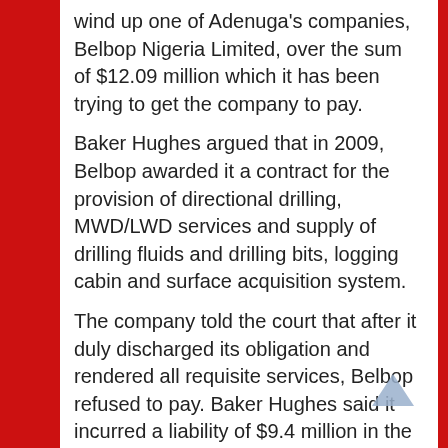wind up one of Adenuga's companies, Belbop Nigeria Limited, over the sum of $12.09 million which it has been trying to get the company to pay.
Baker Hughes argued that in 2009, Belbop awarded it a contract for the provision of directional drilling, MWD/LWD services and supply of drilling fluids and drilling bits, logging cabin and surface acquisition system.
The company told the court that after it duly discharged its obligation and rendered all requisite services, Belbop refused to pay. Baker Hughes said it incurred a liability of $9.4 million in the course of executing the contract.
On April 12, 2016, Babs Kuewumi of the Federal High Court in Lagos placed an interim injunction on the accounts of Belbop, pending the determination of the suit.